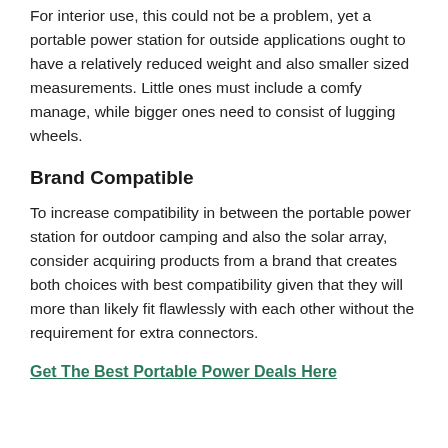For interior use, this could not be a problem, yet a portable power station for outside applications ought to have a relatively reduced weight and also smaller sized measurements. Little ones must include a comfy manage, while bigger ones need to consist of lugging wheels.
Brand Compatible
To increase compatibility in between the portable power station for outdoor camping and also the solar array, consider acquiring products from a brand that creates both choices with best compatibility given that they will more than likely fit flawlessly with each other without the requirement for extra connectors.
Get The Best Portable Power Deals Here